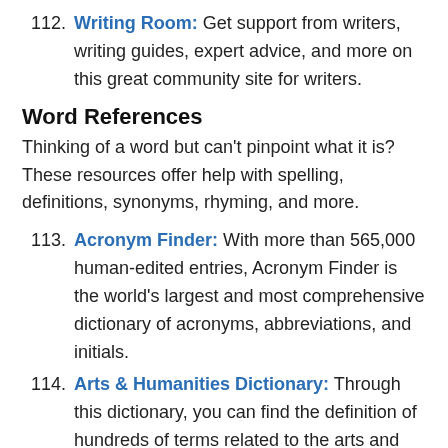112. Writing Room: Get support from writers, writing guides, expert advice, and more on this great community site for writers.
Word References
Thinking of a word but can't pinpoint what it is? These resources offer help with spelling, definitions, synonyms, rhyming, and more.
113. Acronym Finder: With more than 565,000 human-edited entries, Acronym Finder is the world's largest and most comprehensive dictionary of acronyms, abbreviations, and initials.
114. Arts & Humanities Dictionary: Through this dictionary, you can find the definition of hundreds of terms related to the arts and humanities.